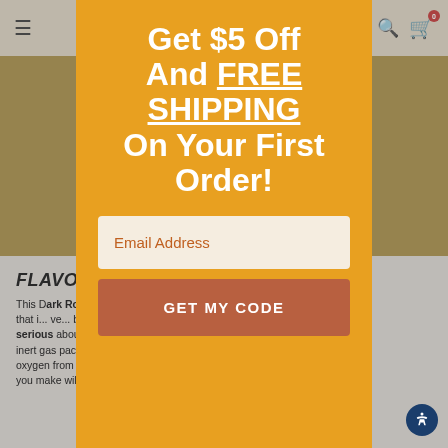Navigation bar with hamburger menu, search icon, and cart (0 items)
Get $5 Off And FREE SHIPPING On Your First Order!
Email Address
GET MY CODE
FLAVOR PROFILE
This Dark Roast Multi... and delivers a cup that is... bold and... We're serious about our flavor, which is why we use a special inert gas packaging system... removed oxygen from the bag, and... coffee you make will taste as great...